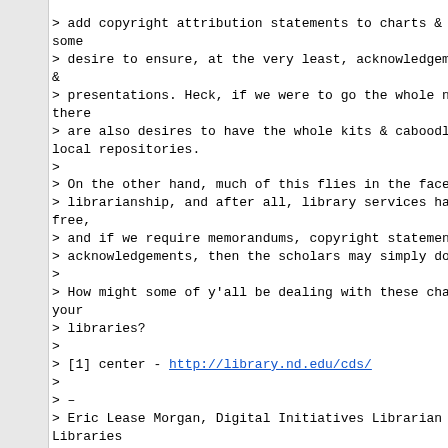> add copyright attribution statements to charts & gr... some
> desire to ensure, at the very least, acknowledgement... &
> presentations. Heck, if we were to go the whole nine... there
> are also desires to have the whole kits & caboodles... local repositories.
>
> On the other hand, much of this flies in the face to...
> librarianship, and after all, library services have... free,
> and if we require memorandums, copyright statements,...
> acknowledgements, then the scholars may simply do wi...
>
> How might some of y'all be dealing with these chang... your
> libraries?
>
> [1] center - http://library.nd.edu/cds/
>
> –
> Eric Lease Morgan, Digital Initiatives Librarian He... Libraries
> University of Notre Dame Notre Dame, IN 46556
>
> [log in to unmask]
> 574/631-8604
>